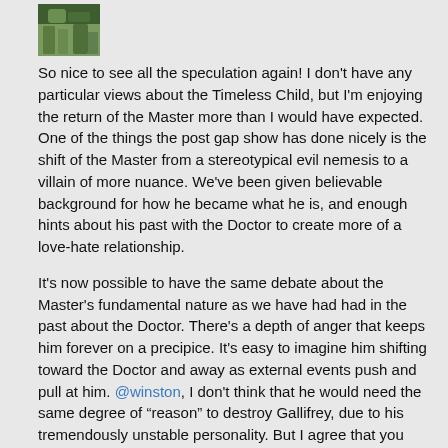[Figure (photo): Small avatar/profile photo thumbnail showing a person or nature image in the top left corner]
So nice to see all the speculation again! I don't have any particular views about the Timeless Child, but I'm enjoying the return of the Master more than I would have expected. One of the things the post gap show has done nicely is the shift of the Master from a stereotypical evil nemesis to a villain of more nuance. We've been given believable background for how he became what he is, and enough hints about his past with the Doctor to create more of a love-hate relationship.
It's now possible to have the same debate about the Master's fundamental nature as we have had had in the past about the Doctor. There's a depth of anger that keeps him forever on a precipice. It's easy to imagine him shifting toward the Doctor and away as external events push and pull at him. @winston, I don't think that he would need the same degree of "reason" to destroy Gallifrey, due to his tremendously unstable personality. But I agree that you can never exclude the possibility that the Master is lying! I can't help noting that, in their final appearances, both Simm and Gomez Masters actually ended up, in a sense, on the Doctor's side.